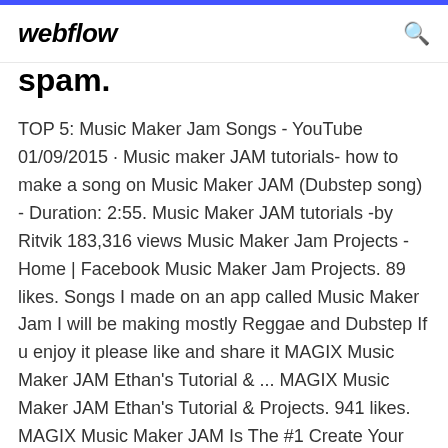webflow
spam.
TOP 5: Music Maker Jam Songs - YouTube 01/09/2015 · Music maker JAM tutorials- how to make a song on Music Maker JAM (Dubstep song) - Duration: 2:55. Music Maker JAM tutorials -by Ritvik 183,316 views Music Maker Jam Projects - Home | Facebook Music Maker Jam Projects. 89 likes. Songs I made on an app called Music Maker Jam I will be making mostly Reggae and Dubstep If u enjoy it please like and share it MAGIX Music Maker JAM Ethan's Tutorial & ... MAGIX Music Maker JAM Ethan's Tutorial & Projects. 941 likes. MAGIX Music Maker JAM Is The #1 Create Your Own Music , Maker Use Easy Features Of the Software ,